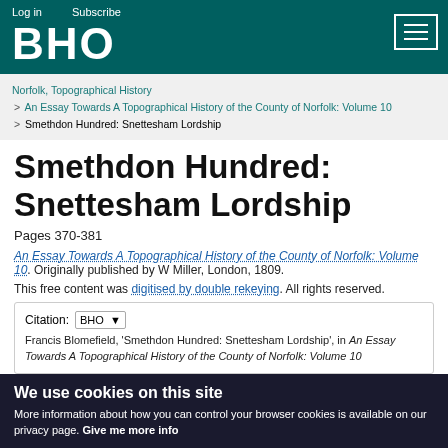Log in   Subscribe
BHO
Norfolk, Topographical History > An Essay Towards A Topographical History of the County of Norfolk: Volume 10 > Smethdon Hundred: Snettesham Lordship
Smethdon Hundred: Snettesham Lordship
Pages 370-381
An Essay Towards A Topographical History of the County of Norfolk: Volume 10. Originally published by W Miller, London, 1809.
This free content was digitised by double rekeying. All rights reserved.
Citation: BHO ▾
Francis Blomefield, 'Smethdon Hundred: Snettesham Lordship', in An Essay Towards A Topographical History of the County of Norfolk: Volume 10
We use cookies on this site
More information about how you can control your browser cookies is available on our privacy page. Give me more info